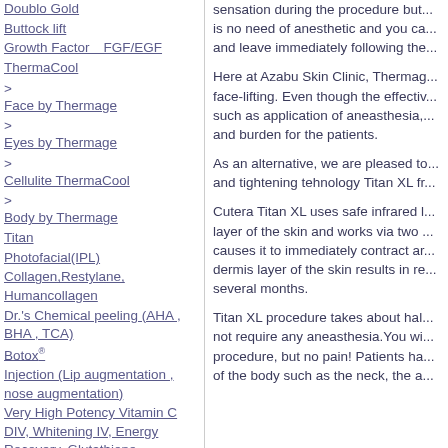Doublo Gold
Buttock lift
Growth Factor　FGF/EGF
ThermaCool
> Face by Thermage
> Eyes by Thermage
> Cellulite ThermaCool
> Body by Thermage
Titan
Photofacial(IPL)
Collagen,Restylane, Humancollagen
Dr.'s Chemical peeling (AHA , BHA , TCA)
Botox®
Injection (Lip augmentation , nose augmentation)
Very High Potency Vitamin C DIV, Whitening IV, Energy Recovery, Glutathione Intravenous Drips
Laser suregery
Piercing
Eczema,Atopic dermatitis
sensation during the procedure but... is no need of anesthetic and you ca... and leave immediately following the...
Here at Azabu Skin Clinic, Thermag... face-lifting. Even though the effectiv... such as application of aneasthesia,... and burden for the patients.
As an alternative, we are pleased to... and tightening tehnology Titan XL fr...
Cutera Titan XL uses safe infrared l... layer of the skin and works via two ... causes it to immediately contract ar... dermis layer of the skin results in re... several months.
Titan XL procedure takes about hal... not require any aneasthesia. You wi... procedure, but no pain! Patients ha... of the body such as the neck, the a...